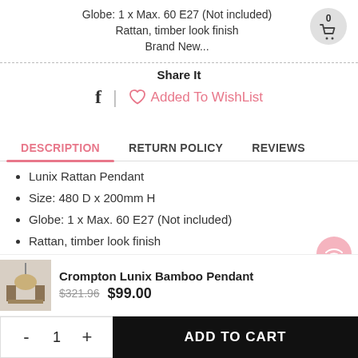Globe: 1 x Max. 60 E27 (Not included)
Rattan,  timber look finish
Brand New...
Share It
f | ♡ Added To WishList
DESCRIPTION | RETURN POLICY | REVIEWS
Lunix Rattan Pendant
Size: 480 D x 200mm H
Globe: 1 x Max. 60 E27 (Not included)
Rattan,  timber look finish
Crompton Lunix Bamboo Pendant $321.96 $99.00
- 1 + ADD TO CART